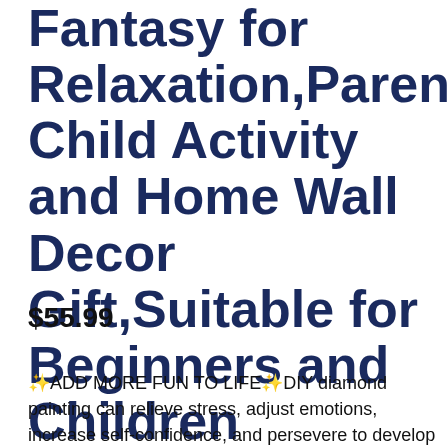Fantasy for Relaxation,Parent Child Activity and Home Wall Decor Gift,Suitable for Beginners and Children 24x48in
$55.99
✨ADD MORE FUN TO LIFE✨DIY diamond painting can relieve stress, adjust emotions, increase self-confidence, and persevere to develop patience